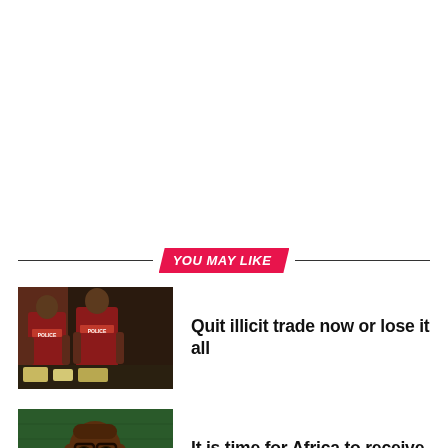YOU MAY LIKE
[Figure (photo): Two people in dark red/maroon vests with POLICE text, seen from behind, standing near equipment]
Quit illicit trade now or lose it all
[Figure (photo): African man in suit speaking at a podium, green background, appears to be at UN or similar international forum]
It is time for Africa to receive reparations